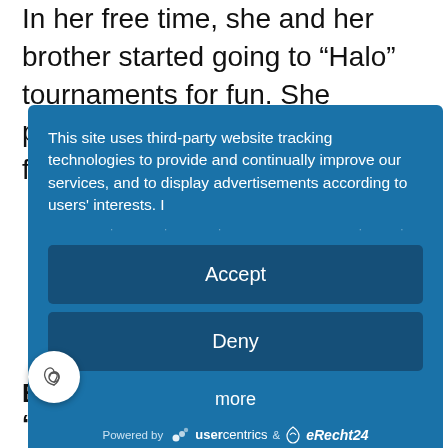In her free time, she and her brother started going to “Halo” tournaments for fun. She performed well, though she found the
[Figure (screenshot): Cookie consent overlay dialog with blue background containing tracking notice text, Accept button, Deny button, more link, and Powered by usercentrics & eRecht24 footer]
Becoming a ‘Frag Doll’